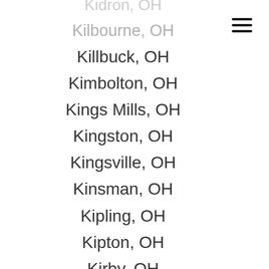Kidron, OH
Kilbourn, OH
Killbuck, OH
Kimbolton, OH
Kings Mills, OH
Kingston, OH
Kingsville, OH
Kinsman, OH
Kipling, OH
Kipton, OH
Kirby, OH
Kirkersville, OH
Kitts Hill, OH
Kunkle, OH
La Rue, OH
Lacarne, OH